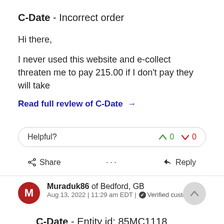C-Date - Incorrect order
Hi there,
I never used this website and e-collect threaten me to pay 215.00 if I don't pay they will take
Read full revIew of C-Date →
Helpful? 0 0
Share  ...  Reply
Muraduk86 of Bedford, GB
Aug 13, 2022 | 11:29 am EDT | ✔ Verified customer
C-Date - Entity id: 85MC1118 ecollect claim